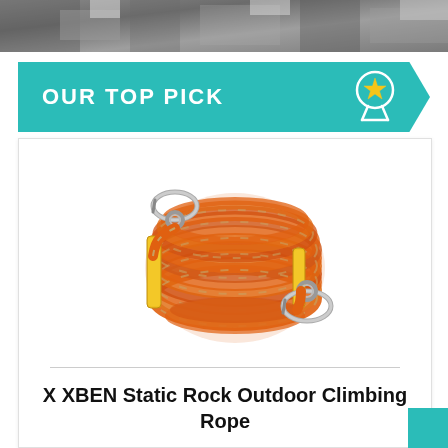[Figure (photo): Top banner showing rocky climbing terrain background photo]
OUR TOP PICK
[Figure (photo): Orange static climbing rope coiled and bundled with silver/metal carabiners at both ends, yellow securing straps holding the coil]
X XBEN Static Rock Outdoor Climbing Rope